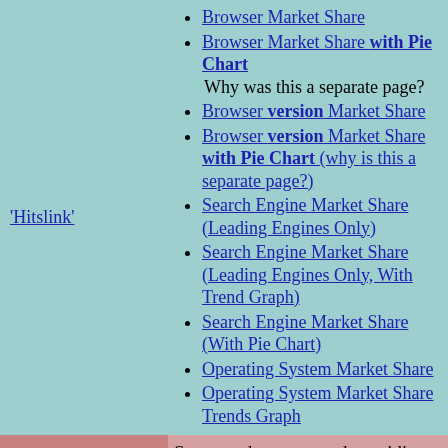'Hitslink'
Browser Market Share
Browser Market Share with Pie Chart
Why was this a separate page?
Browser version Market Share
Browser version Market Share with Pie Chart (why is this a separate page?)
Search Engine Market Share (Leading Engines Only)
Search Engine Market Share (Leading Engines Only, With Trend Graph)
Search Engine Market Share (With Pie Chart)
Operating System Market Share
Operating System Market Share Trends Graph
OneStat.com
Seems to have stopped providing recent data. As of mid-2009, website still provided old copies from 2005 or so, of published reports on browser market share and that sort of thing, in